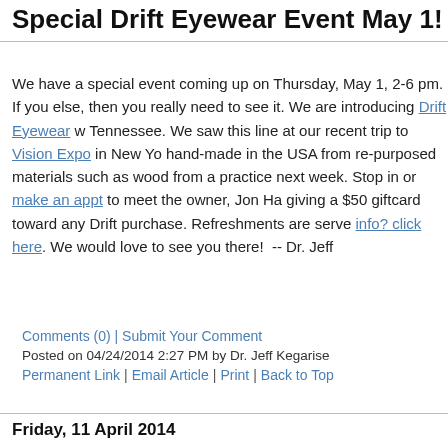Special Drift Eyewear Event May 1!
We have a special event coming up on Thursday, May 1, 2-6 pm. If you else, then you really need to see it. We are introducing Drift Eyewear w Tennessee. We saw this line at our recent trip to Vision Expo in New Yo hand-made in the USA from re-purposed materials such as wood from a practice next week. Stop in or make an appt to meet the owner, Jon Ha giving a $50 giftcard toward any Drift purchase. Refreshments are serve info? click here. We would love to see you there!  -- Dr. Jeff
Comments (0) | Submit Your Comment
Posted on 04/24/2014 2:27 PM by Dr. Jeff Kegarise
Permanent Link   |   Email Article   |   Print   |   Back to Top
Friday, 11 April 2014